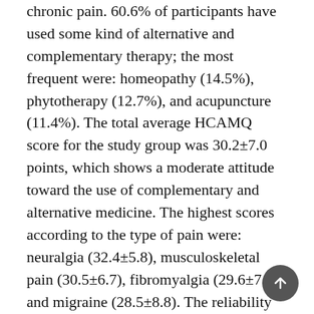chronic pain. 60.6% of participants have used some kind of alternative and complementary therapy; the most frequent were: homeopathy (14.5%), phytotherapy (12.7%), and acupuncture (11.4%). The total average HCAMQ score for the study group was 30.2±7.0 points, which shows a moderate attitude toward the use of complementary and alternative medicine. The highest scores according to the type of pain were: neuralgia (32.4±5.8), musculoskeletal pain (30.5±6.7), fibromyalgia (29.6±7.3) and migraine (28.5±8.8). The reliability of the HCAMQ was acceptable (Cronbach's α: 0.6). Conclusion: it was noted that the types of chronic pain and the clinical or therapeutic management of patients correspond to the data available in current literature. Despite the moderate attitude toward the use of these alternative and complementary therapies, one of every three patients uses them.